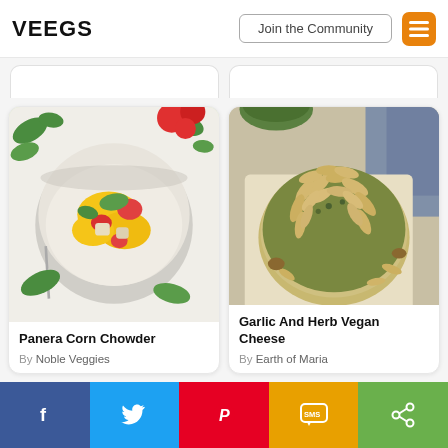VEEGS — Join the Community
[Figure (photo): Panera Corn Chowder — bowl of rice with corn, tomatoes, and cilantro garnish, viewed from above]
Panera Corn Chowder
By Noble Veggies
[Figure (photo): Garlic And Herb Vegan Cheese — round cheese ball covered in sliced almonds and herbs on parchment paper]
Garlic And Herb Vegan Cheese
By Earth of Maria
f  (Twitter bird)  (Pinterest P)  SMS  (Share icon)